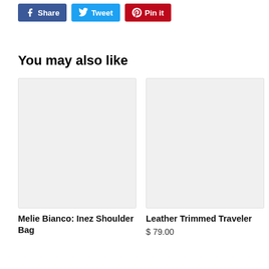[Figure (other): Social share buttons: Facebook Share, Twitter Tweet, Pinterest Pin it]
You may also like
[Figure (photo): Product image placeholder for Melie Bianco: Inez Shoulder Bag]
Melie Bianco: Inez Shoulder Bag
[Figure (photo): Product image placeholder for Leather Trimmed Traveler]
Leather Trimmed Traveler
$ 79.00